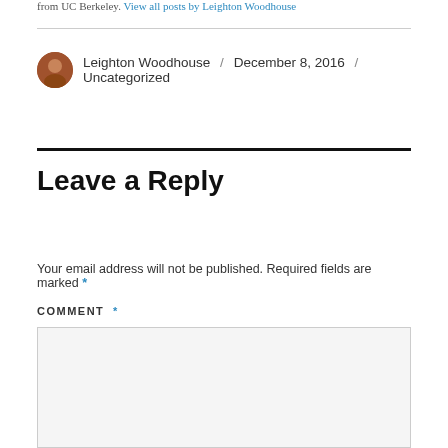from UC Berkeley. View all posts by Leighton Woodhouse
Leighton Woodhouse / December 8, 2016 / Uncategorized
Leave a Reply
Your email address will not be published. Required fields are marked *
COMMENT *